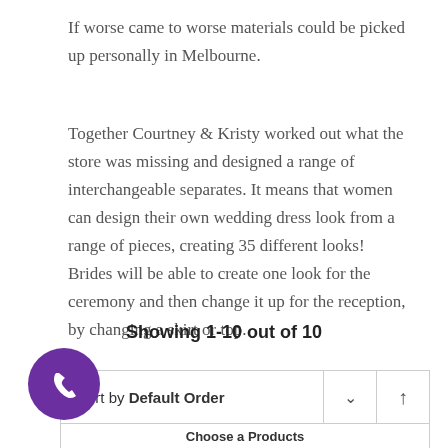If worse came to worse materials could be picked up personally in Melbourne.
Together Courtney & Kristy worked out what the store was missing and designed a range of interchangeable separates. It means that women can design their own wedding dress look from a range of pieces, creating 35 different looks! Brides will be able to create one look for the ceremony and then change it up for the reception, by changing a skirt or top.
Showing 1-10 out of 10
Sort by Default Order